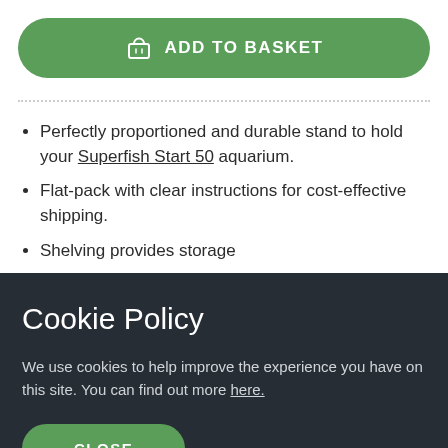[Figure (other): Green 'ADD TO BASKET' button with shopping bag icon]
Perfectly proportioned and durable stand to hold your Superfish Start 50 aquarium.
Flat-pack with clear instructions for cost-effective shipping.
Shelving provides storage
Cookie Policy
We use cookies to help improve the experience you have on this site. You can find out more here.
[Figure (other): Green 'CLOSE' button]